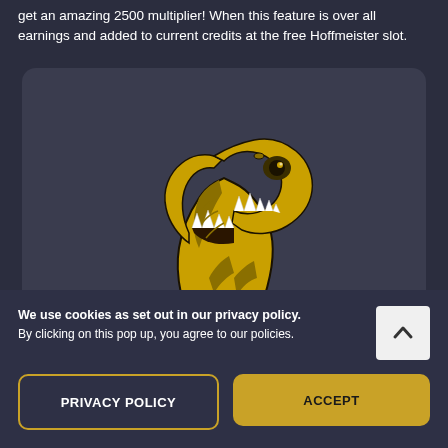get an amazing 2500 multiplier! When this feature is over all earnings and added to current credits at the free Hoffmeister slot.
[Figure (illustration): Gold and dark colored T-Rex dinosaur head illustration with open jaws showing teeth, on a dark rounded card background]
We use cookies as set out in our privacy policy. By clicking on this pop up, you agree to our policies.
PRIVACY POLICY
ACCEPT